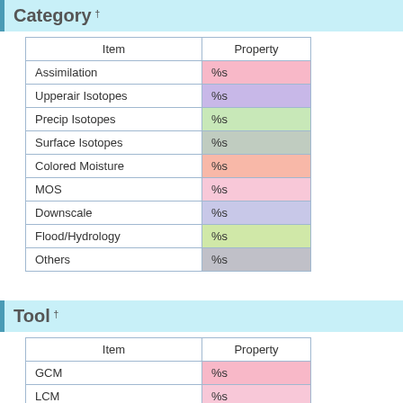Category †
| Item | Property |
| --- | --- |
| Assimilation | %s |
| Upperair Isotopes | %s |
| Precip Isotopes | %s |
| Surface Isotopes | %s |
| Colored Moisture | %s |
| MOS | %s |
| Downscale | %s |
| Flood/Hydrology | %s |
| Others | %s |
Tool †
| Item | Property |
| --- | --- |
| GCM | %s |
| LCM | %s |